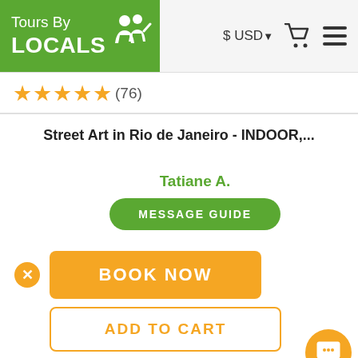[Figure (logo): Tours By Locals logo – green background with white text and silhouette figures]
$ USD ▾  🛒  ≡
★★★★★ (76)
Street Art in Rio de Janeiro - INDOOR,...
Tatiane A.
MESSAGE GUIDE
BOOK NOW
ADD TO CART